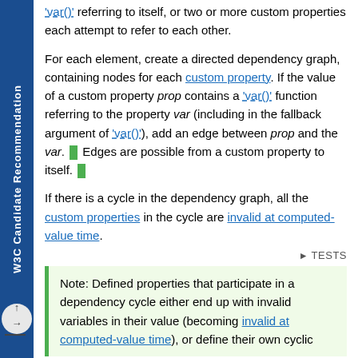W3C Candidate Recommendation
'var()' referring to itself, or two or more custom properties each attempt to refer to each other.
For each element, create a directed dependency graph, containing nodes for each custom property. If the value of a custom property prop contains a 'var()' function referring to the property var (including in the fallback argument of 'var()'), add an edge between prop and the var. [■] Edges are possible from a custom property to itself. [■]
If there is a cycle in the dependency graph, all the custom properties in the cycle are invalid at computed-value time.
▶ TESTS
Note: Defined properties that participate in a dependency cycle either end up with invalid variables in their value (becoming invalid at computed-value time), or define their own cyclic